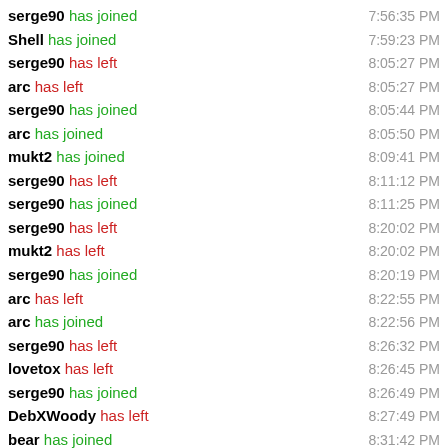serge90 has joined  7:56:35 PM
Shell has joined  7:59:23 PM
serge90 has left  8:05:27 PM
arc has left  8:05:27 PM
serge90 has joined  8:05:44 PM
arc has joined  8:05:50 PM
mukt2 has joined  8:09:41 PM
serge90 has left  8:11:12 PM
serge90 has joined  8:11:25 PM
serge90 has left  8:20:02 PM
mukt2 has left  8:20:02 PM
serge90 has joined  8:20:19 PM
arc has left  8:22:55 PM
arc has joined  8:22:56 PM
serge90 has left  8:26:32 PM
lovetox has left  8:26:45 PM
serge90 has joined  8:26:49 PM
DebXWoody has left  8:27:49 PM
bear has joined  8:31:42 PM
serge90 has left  8:32:41 PM
serge90 has joined  8:32:58 PM
LNJ has left  8:38:50 PM
stpeter has joined  8:40:46 PM
stpeter has left  8:40:47 PM
serge90 has left  8:43:46 PM